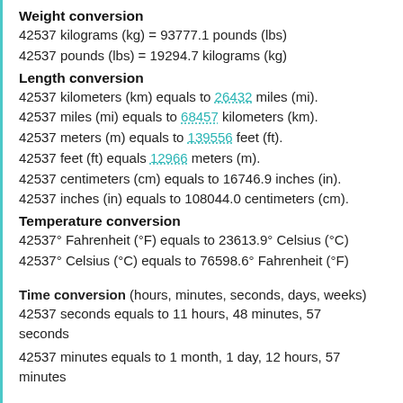Weight conversion
42537 kilograms (kg) = 93777.1 pounds (lbs)
42537 pounds (lbs) = 19294.7 kilograms (kg)
Length conversion
42537 kilometers (km) equals to 26432 miles (mi).
42537 miles (mi) equals to 68457 kilometers (km).
42537 meters (m) equals to 139556 feet (ft).
42537 feet (ft) equals 12966 meters (m).
42537 centimeters (cm) equals to 16746.9 inches (in).
42537 inches (in) equals to 108044.0 centimeters (cm).
Temperature conversion
42537° Fahrenheit (°F) equals to 23613.9° Celsius (°C)
42537° Celsius (°C) equals to 76598.6° Fahrenheit (°F)
Time conversion (hours, minutes, seconds, days, weeks)
42537 seconds equals to 11 hours, 48 minutes, 57 seconds
42537 minutes equals to 1 month, 1 day, 12 hours, 57 minutes